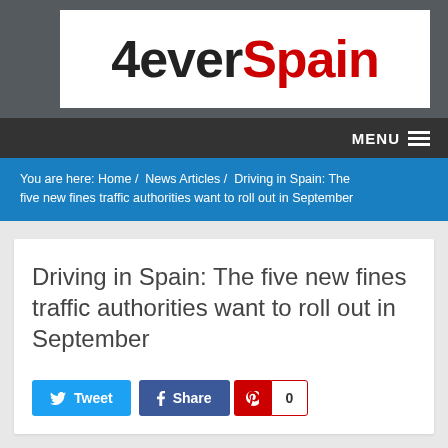[Figure (logo): 4everSpain website logo — '4ever' in black bold text and 'Spain' in red bold text on white background]
MENU
You are here: Home / News Articles / Driving in Spain: The five new fines traffic authorities want to roll out in September
Driving in Spain: The five new fines traffic authorities want to roll out in September
[Figure (screenshot): Social sharing buttons: Tweet (Twitter/blue), Share (Facebook/dark blue), Pinterest icon with count of 0]